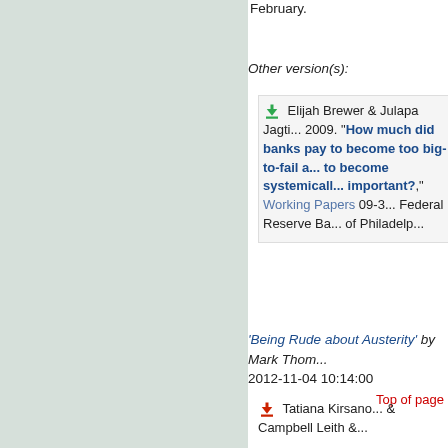February.
Other version(s):
Elijah Brewer & Julapa Jagti... 2009. "How much did banks pay to become too big-to-fail and to become systemically important?", Working Papers 09-3 Federal Reserve Bank of Philadelphia
'Being Rude about Austerity' by Mark Thom... 2012-11-04 10:14:00
Top of page
Tatiana Kirsano... & Campbell Leith &...